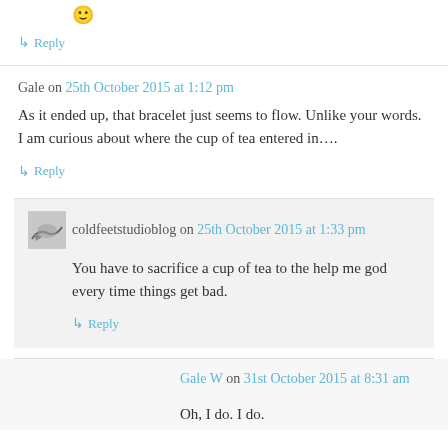🙂
↳ Reply
Gale on 25th October 2015 at 1:12 pm
As it ended up, that bracelet just seems to flow. Unlike your words. I am curious about where the cup of tea entered in….
↳ Reply
coldfeetstudioblog on 25th October 2015 at 1:33 pm
You have to sacrifice a cup of tea to the help me god every time things get bad.
↳ Reply
Gale W on 31st October 2015 at 8:31 am
Oh, I do. I do.